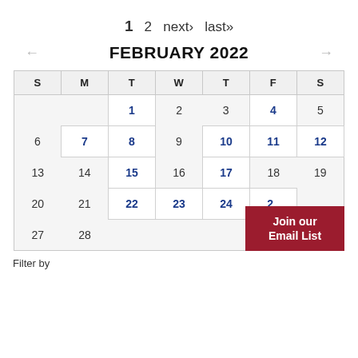1  2  next›  last»
FEBRUARY 2022
| S | M | T | W | T | F | S |
| --- | --- | --- | --- | --- | --- | --- |
|  |  | 1 | 2 | 3 | 4 | 5 |
| 6 | 7 | 8 | 9 | 10 | 11 | 12 |
| 13 | 14 | 15 | 16 | 17 | 18 | 19 |
| 20 | 21 | 22 | 23 | 24 | 25 |  |
| 27 | 28 |  |  |  |  |  |
Join our Email List
Filter by